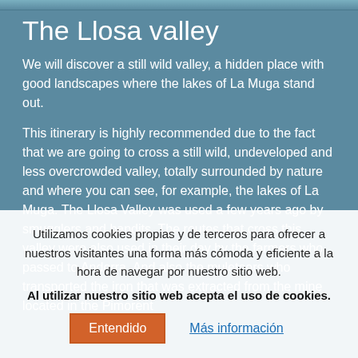[Figure (photo): Top image strip of a landscape]
The Llosa valley
We will discover a still wild valley, a hidden place with good landscapes where the lakes of La Muga stand out.
This itinerary is highly recommended due to the fact that we are going to cross a still wild, undeveloped and less overcrowded valley, totally surrounded by nature and where you can see, for example, the lakes of La Muga. The Llosa Valley was used a few years ago by smugglers and bandits. The routes that cross this valley were also used in their day by the farmers who passed to Andorra. And also the muleteers who transported the iron that was extracted from the mine located in the Pimorent
Utilizamos cookies propias y de terceros para ofrecer a nuestros visitantes una forma más cómoda y eficiente a la hora de navegar por nuestro sitio web.
Al utilizar nuestro sitio web acepta el uso de cookies.
Entendido
Más información